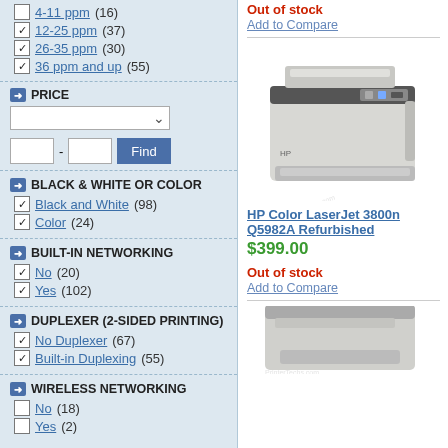4-11 ppm (16)
12-25 ppm (37)
26-35 ppm (30)
36 ppm and up (55)
PRICE
BLACK & WHITE OR COLOR
Black and White (98)
Color (24)
BUILT-IN NETWORKING
No (20)
Yes (102)
DUPLEXER (2-SIDED PRINTING)
No Duplexer (67)
Built-in Duplexing (55)
WIRELESS NETWORKING
No (18)
Yes (2)
Out of stock
Add to Compare
[Figure (photo): HP Color LaserJet 3800n Q5982A Refurbished printer photo]
HP Color LaserJet 3800n Q5982A Refurbished
$399.00
Out of stock
Add to Compare
[Figure (photo): Second printer product photo (partially visible)]